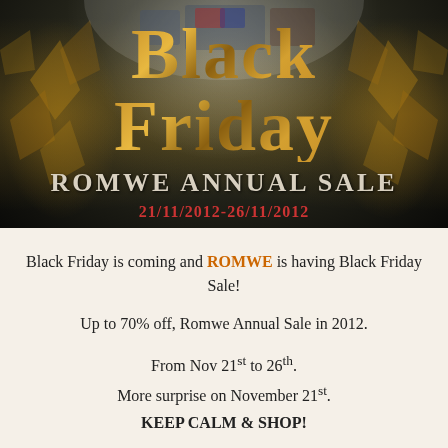[Figure (illustration): Black Friday ROMWE Annual SALE promotional banner with golden stylized 'Black Friday' text over dark background with golden leaf decorations. Date shown: 21/11/2012-26/11/2012]
Black Friday is coming and ROMWE is having Black Friday Sale!
Up to 70% off, Romwe Annual Sale in 2012.
From Nov 21st to 26th.
More surprise on November 21st.
KEEP CALM & SHOP!